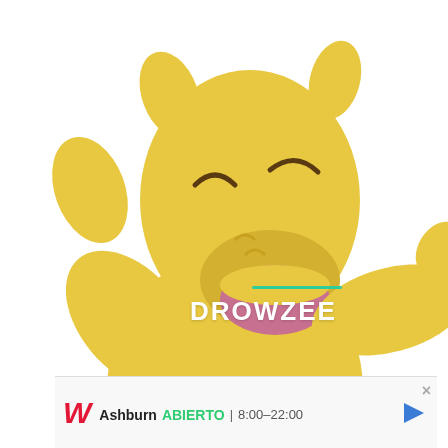[Figure (illustration): Illustration of Drowzee, a yellow and brown Pokémon character, standing upright with one arm raised and mouth open. The character has a yellow upper body with a wavy brown lower body. Below the main figure, partial yellow triangular spikes are visible at the bottom.]
DROWZEE
[Figure (screenshot): Advertisement banner for Walgreens pharmacy showing Ashburn location. Contains red italic Walgreens logo, city name 'Ashburn', green text 'ABIERTO', hours '8:00-22:00', and a blue navigation arrow icon. Close button (×) on the right.]